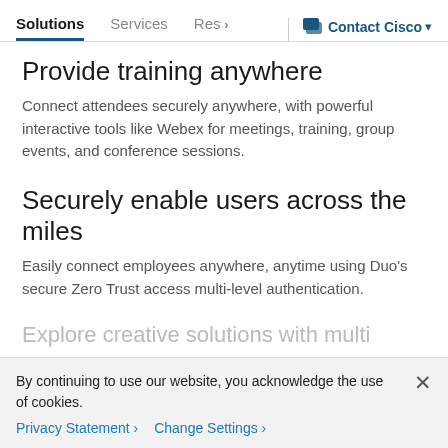Solutions   Services   Res >   Contact Cisco
Provide training anywhere
Connect attendees securely anywhere, with powerful interactive tools like Webex for meetings, training, group events, and conference sessions.
Securely enable users across the miles
Easily connect employees anywhere, anytime using Duo’s secure Zero Trust access multi-level authentication.
Explore creative solutions with multi
By continuing to use our website, you acknowledge the use of cookies.
Privacy Statement >   Change Settings >